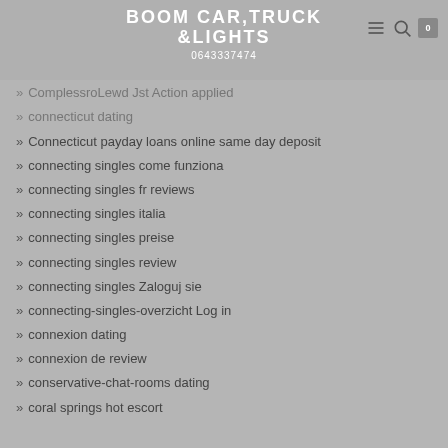BOOM CAR,TRUCK &LIGHTS | 0643337474
Compliment pop over to these guys
ComplessroLewd Jst Action applied
connecticut dating
Connecticut payday loans online same day deposit
connecting singles come funziona
connecting singles fr reviews
connecting singles italia
connecting singles preise
connecting singles review
connecting singles Zaloguj sie
connecting-singles-overzicht Log in
connexion dating
connexion de review
conservative-chat-rooms dating
coral springs hot escort